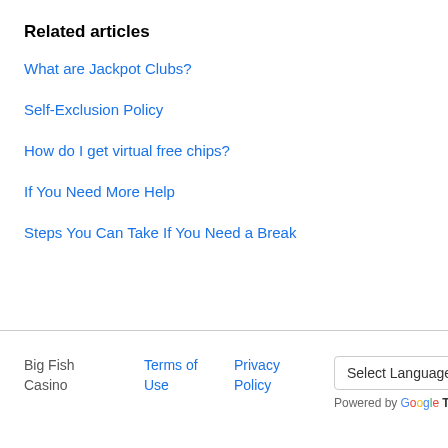Related articles
What are Jackpot Clubs?
Self-Exclusion Policy
How do I get virtual free chips?
If You Need More Help
Steps You Can Take If You Need a Break
Big Fish Casino   Terms of Use   Privacy Policy   Select Language   Powered by Google Translate